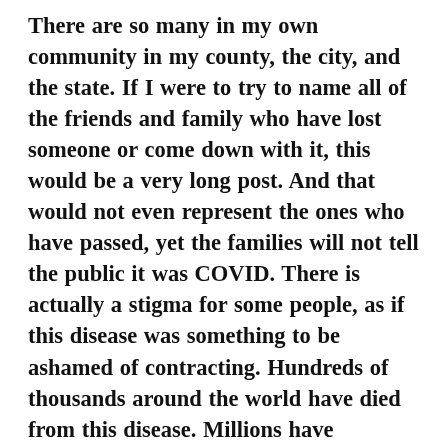There are so many in my own community in my county, the city, and the state. If I were to try to name all of the friends and family who have lost someone or come down with it, this would be a very long post. And that would not even represent the ones who have passed, yet the families will not tell the public it was COVID. There is actually a stigma for some people, as if this disease was something to be ashamed of contracting. Hundreds of thousands around the world have died from this disease. Millions have contracted it. How does one attach shame to such a ruthless and invisible killer? We had a cousin in our family who died from it, but we didn't see a…